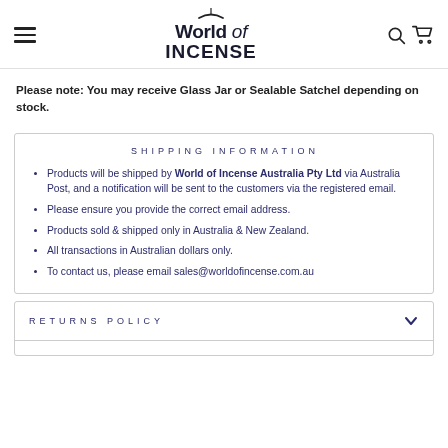World of Incense — navigation header with hamburger menu, logo, search and cart icons
Please note: You may receive Glass Jar or Sealable Satchel depending on stock.
SHIPPING INFORMATION
Products will be shipped by World of Incense Australia Pty Ltd via Australia Post, and a notification will be sent to the customers via the registered email.
Please ensure you provide the correct email address.
Products sold & shipped only in Australia & New Zealand.
All transactions in Australian dollars only.
To contact us, please email sales@worldofincense.com.au
RETURNS POLICY